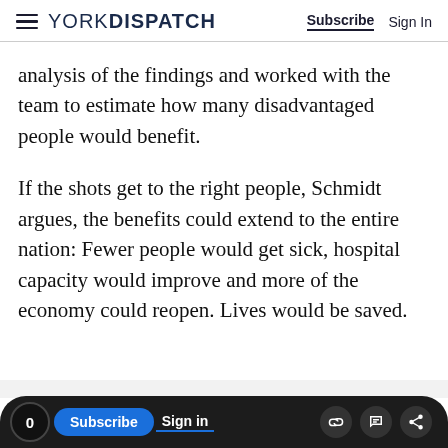YORK DISPATCH | Subscribe  Sign In
analysis of the findings and worked with the team to estimate how many disadvantaged people would benefit.
If the shots get to the right people, Schmidt argues, the benefits could extend to the entire nation: Fewer people would get sick, hospital capacity would improve and more of the economy could reopen. Lives would be saved.
Advertisement